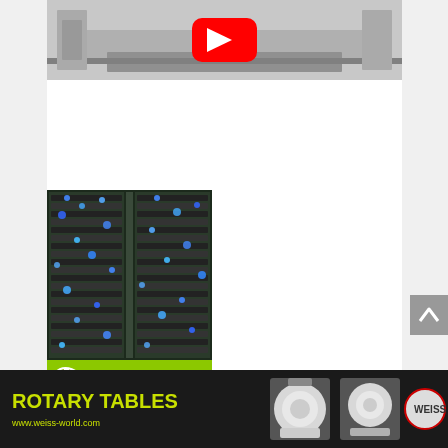[Figure (screenshot): Top portion of a video thumbnail showing an industrial/factory setting with a YouTube play button overlay (red and white), automated machinery visible in the background]
[Figure (photo): Server rack or electronic equipment cabinet with glowing blue LED lights, showing dense wiring and hardware, with a green and dark grey 'RIPLEY' branded banner at the bottom]
[Figure (infographic): Bottom banner advertisement for Weiss rotary tables: black background, yellow-green bold text 'ROTARY TABLES' and URL 'www.weiss-world.com', with images of two white rotary table products (circular/disc style) and the round Weiss logo in red and grey]